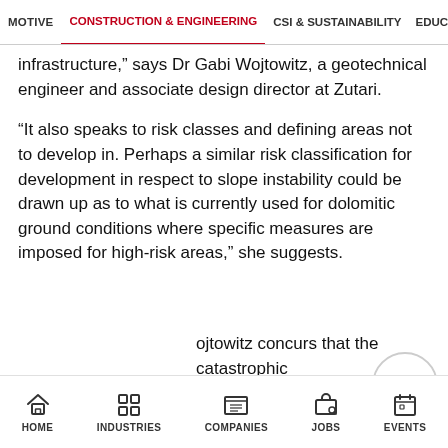MOTIVE  CONSTRUCTION & ENGINEERING  CSI & SUSTAINABILITY  EDUC
infrastructure,” says Dr Gabi Wojtowitz, a geotechnical engineer and associate design director at Zutari.
“It also speaks to risk classes and defining areas not to develop in. Perhaps a similar risk classification for development in respect to slope instability could be drawn up as to what is currently used for dolomitic ground conditions where specific measures are imposed for high-risk areas,” she suggests.
ojtowitz concurs that the catastrophic
[Figure (other): Right-pointing navigation arrow button (circle with chevron)]
HOME  INDUSTRIES  COMPANIES  JOBS  EVENTS